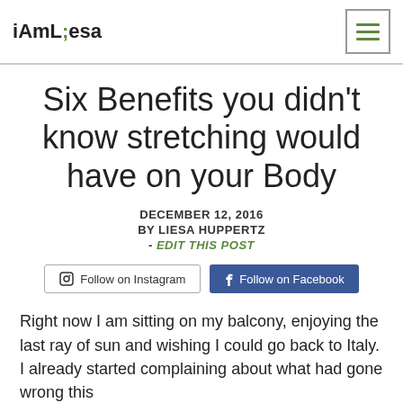iAmLiesa
Six Benefits you didn't know stretching would have on your Body
DECEMBER 12, 2016
BY LIESA HUPPERTZ
- EDIT THIS POST
[Figure (other): Social media buttons: Follow on Instagram and Follow on Facebook]
Right now I am sitting on my balcony, enjoying the last ray of sun and wishing I could go back to Italy. I already started complaining about what had gone wrong this